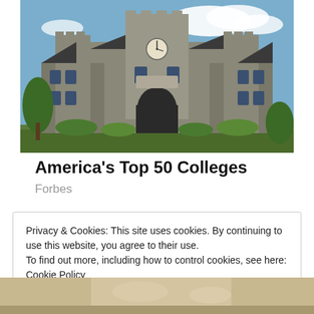[Figure (photo): Gothic stone university building with clock tower and arched entrance gateway, blue sky with clouds, green trees and shrubs in foreground]
America's Top 50 Colleges
Forbes
Privacy & Cookies: This site uses cookies. By continuing to use this website, you agree to their use.
To find out more, including how to control cookies, see here: Cookie Policy
Close and accept
[Figure (photo): Partial view of a second photo at the bottom of the page]